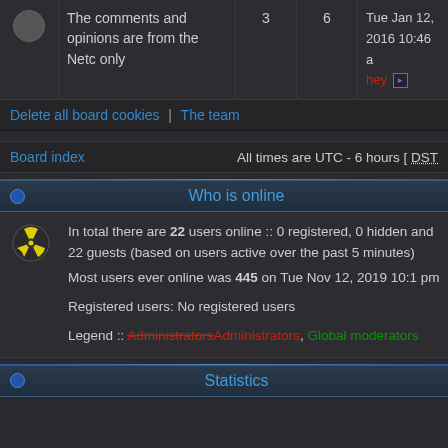|  | Topic | Posts | Views | Last post |
| --- | --- | --- | --- | --- |
|  | The comments and opinions are from the Netc only | 3 | 6 | Tue Jan 12, 2016 10:46 a
hey |
Delete all board cookies | The team
Board index    All times are UTC - 6 hours [ DST ]
Who is online
In total there are 22 users online :: 0 registered, 0 hidden and 22 guests (based on users active over the past 5 minutes)
Most users ever online was 445 on Tue Nov 12, 2019 10:1 pm

Registered users: No registered users

Legend :: Administrators, Global moderators
Statistics